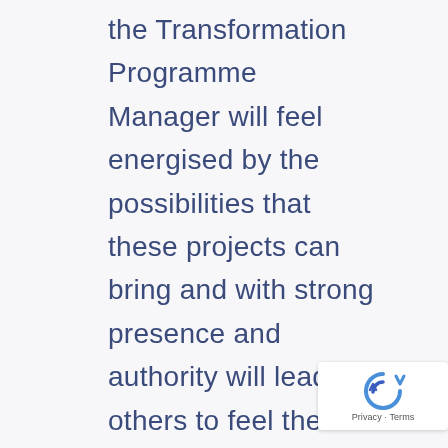the Transformation Programme Manager will feel energised by the possibilities that these projects can bring and with strong presence and authority will lead others to feel the same way. Starting with implementing their fundraising database; the Transformation Programme Manager will manage this project through to post go live and lead our income generation workforce through this change from one system to another. Of course these types of projects often involve knock backs along the way so this individual will have the resilience to manage